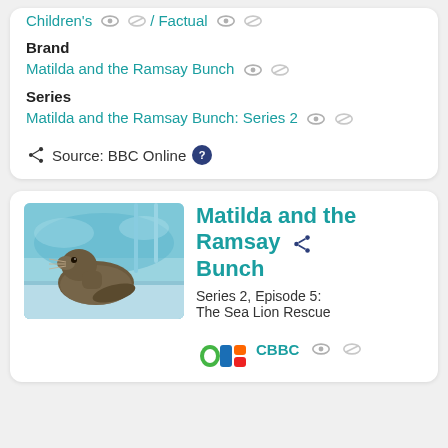Children's / Factual
Brand
Matilda and the Ramsay Bunch
Series
Matilda and the Ramsay Bunch: Series 2
Source: BBC Online
Matilda and the Ramsay Bunch
Series 2, Episode 5: The Sea Lion Rescue
CBBC
[Figure (photo): A sea lion resting on a poolside surface near water, viewed from above]